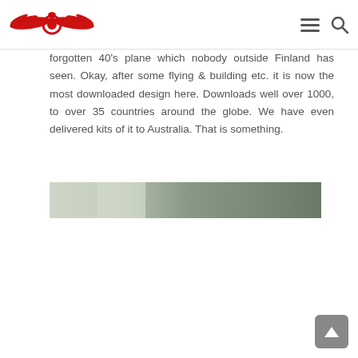[Navigation header with logo and menu/search icons]
forgotten 40's plane which nobody outside Finland has seen. Okay, after some flying & building etc. it is now the most downloaded design here. Downloads well over 1000, to over 35 countries around the globe. We have even delivered kits of it to Australia. That is something.
[Figure (photo): A horizontal banner image of an aircraft, showing a blurred/faded view of a plane, predominantly grey-green tones.]